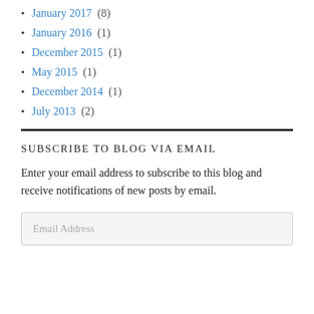January 2017 (8)
January 2016 (1)
December 2015 (1)
May 2015 (1)
December 2014 (1)
July 2013 (2)
SUBSCRIBE TO BLOG VIA EMAIL
Enter your email address to subscribe to this blog and receive notifications of new posts by email.
Email Address